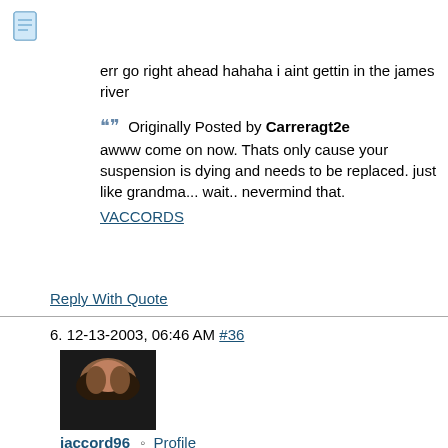[Figure (illustration): Document/note icon in blue-gray]
err go right ahead hahaha i aint gettin in the james river
Originally Posted by Carreragt2e
awww come on now. Thats only cause your suspension is dying and needs to be replaced. just like grandma... wait.. nevermind that.
VACCORDS
Reply With Quote
6. 12-13-2003, 06:46 AM #36
[Figure (photo): User avatar photo - person wearing dark clothing]
jaccord96
Profile
View Forum Posts
Private Message
Ameature
Join Date